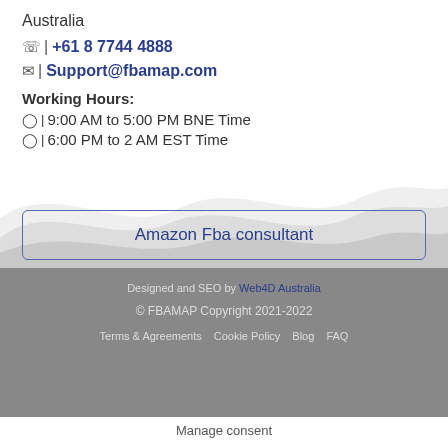Australia
📞 | +61 8 7744 4888
✉ | Support@fbamap.com
Working Hours:
🕐 | 9:00 AM to 5:00 PM BNE Time
🕐 | 6:00 PM to 2 AM EST Time
Amazon Fba consultant
Designed and SEO by Web4D Australia
© FBAMAP Copyright 2021-2022
Terms & Agreements  Cookie Policy  Blog  FAQ
Manage consent